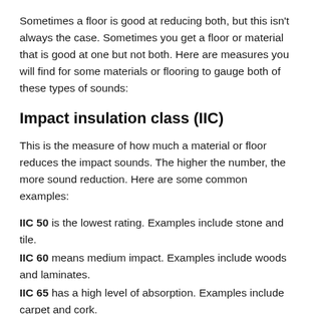Sometimes a floor is good at reducing both, but this isn't always the case. Sometimes you get a floor or material that is good at one but not both. Here are measures you will find for some materials or flooring to gauge both of these types of sounds:
Impact insulation class (IIC)
This is the measure of how much a material or floor reduces the impact sounds. The higher the number, the more sound reduction. Here are some common examples:
IIC 50 is the lowest rating. Examples include stone and tile.
IIC 60 means medium impact. Examples include woods and laminates.
IIC 65 has a high level of absorption. Examples include carpet and cork.